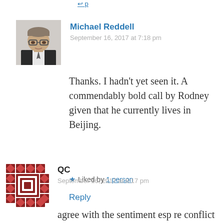[Figure (photo): Profile photo of Michael Reddell, a middle-aged man with glasses]
Michael Reddell
September 16, 2017 at 7:18 pm
Thanks. I hadn't yet seen it. A commendably bold call by Rodney given that he currently lives in Beijing.
★ Liked by 1 person
Reply
[Figure (logo): QC avatar - decorative quilt pattern in brick/brown color]
QC
September 16, 2017 at 8:17 pm
agree with the sentiment esp re conflict of interests; but find my finger pointing